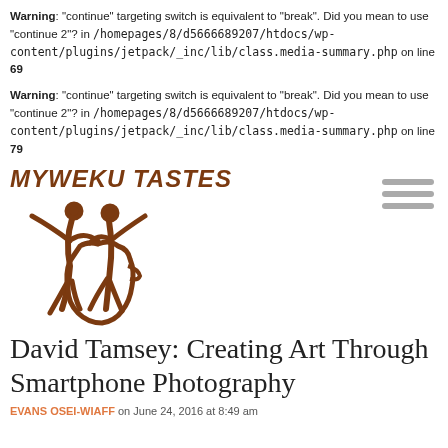Warning: "continue" targeting switch is equivalent to "break". Did you mean to use "continue 2"? in /homepages/8/d5666689207/htdocs/wp-content/plugins/jetpack/_inc/lib/class.media-summary.php on line 69
Warning: "continue" targeting switch is equivalent to "break". Did you mean to use "continue 2"? in /homepages/8/d5666689207/htdocs/wp-content/plugins/jetpack/_inc/lib/class.media-summary.php on line 79
[Figure (logo): MYWEKU TASTES logo with brown text and two dancing figures forming Africa shape]
David Tamsey: Creating Art Through Smartphone Photography
EVANS OSEI-WIAFF on June 24, 2016 at 8:49 am